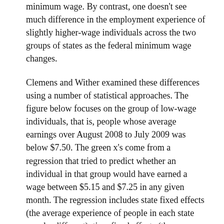minimum wage. By contrast, one doesn't see much difference in the employment experience of slightly higher-wage individuals across the two groups of states as the federal minimum wage changes.
Clemens and Wither examined these differences using a number of statistical approaches. The figure below focuses on the group of low-wage individuals, that is, people whose average earnings over August 2008 to July 2009 was below $7.50. The green x's come from a regression that tried to predict whether an individual in that group would have earned a wage between $5.15 and $7.25 in any given month. The regression includes state fixed effects (the average experience of people in each state may be different), time fixed effects (the average national experience might be different in each month), individual fixed effects (the average experience of individual i might be different), a measure of house prices in state s in month t, and the possibility of a different average experience for each month in states that